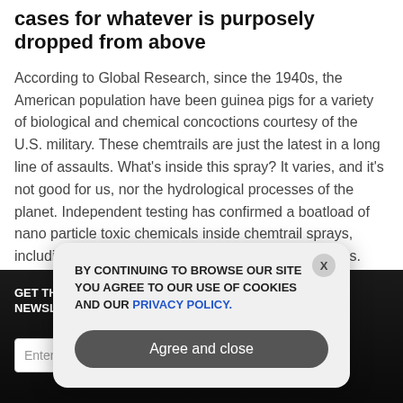The American population have been test cases for whatever is purposely dropped from above
According to Global Research, since the 1940s, the American population have been guinea pigs for a variety of biological and chemical concoctions courtesy of the U.S. military. These chemtrails are just the latest in a long line of assaults. What's inside this spray? It varies, and it's not good for us, nor the hydrological processes of the planet. Independent testing has confirmed a boatload of nano particle toxic chemicals inside chemtrail sprays, including aluminum, barium, yellow fungal mycotoxins.
GET THE WORLD'S BEST INDEPENDENT MEDIA NEWSLETTER DELIVERED STRAIGHT TO YOUR INBOX.
Enter Your Email Address
SUBSCRIBE
BY CONTINUING TO BROWSE OUR SITE YOU AGREE TO OUR USE OF COOKIES AND OUR PRIVACY POLICY.
Agree and close